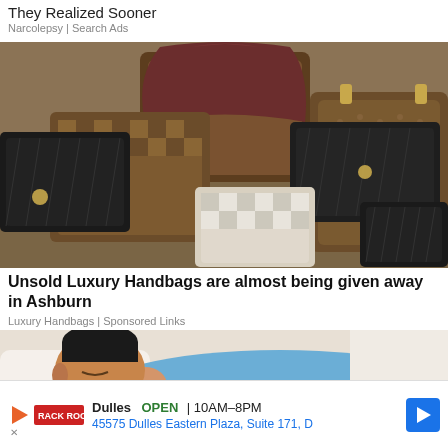They Realized Sooner
Narcolepsy | Search Ads
[Figure (photo): A large collection of luxury handbags including Louis Vuitton monogram bags, Chanel quilted bags in black, a burgundy tote, and other designer bags piled together on a surface.]
Unsold Luxury Handbags are almost being given away in Ashburn
Luxury Handbags | Sponsored Links
[Figure (photo): A man in a blue t-shirt sleeping on a white pillow, eyes closed, mouth slightly open.]
Dulles  OPEN  10AM–8PM  45575 Dulles Eastern Plaza, Suite 171, D